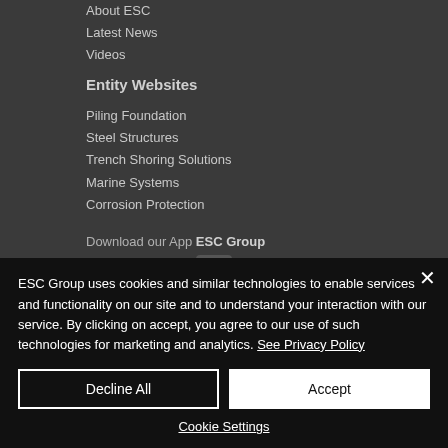About ESC
Latest News
Videos
Entity Websites
Piling Foundation
Steel Structures
Trench Shoring Solutions
Marine Systems
Corrosion Protection
Download our App ESC Group
ESC Group uses cookies and similar technologies to enable services and functionality on our site and to understand your interaction with our service. By clicking on accept, you agree to our use of such technologies for marketing and analytics. See Privacy Policy
Decline All
Accept
Cookie Settings